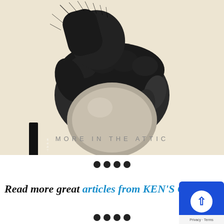[Figure (illustration): Album cover for 'More in the Attic' — detailed black and white pencil/ink illustration of a large hairy hand gripping a round sphere/ball, viewed from above. The hand has prominent knuckles and detailed shading. Text 'MORE IN THE ATTIC' appears in light gray spaced letters below the hand. A small dark rectangular label with text is visible on the left side of the cover. The background is off-white/cream.]
••••
Read more great articles from KEN'S CO…
••••